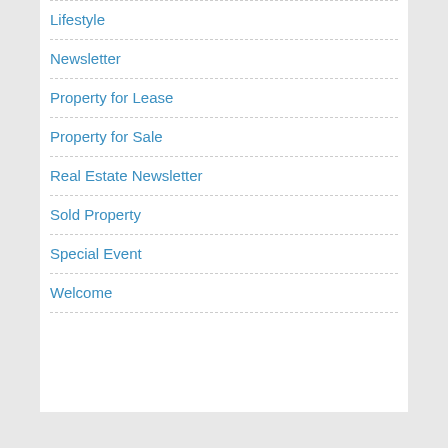Lifestyle
Newsletter
Property for Lease
Property for Sale
Real Estate Newsletter
Sold Property
Special Event
Welcome